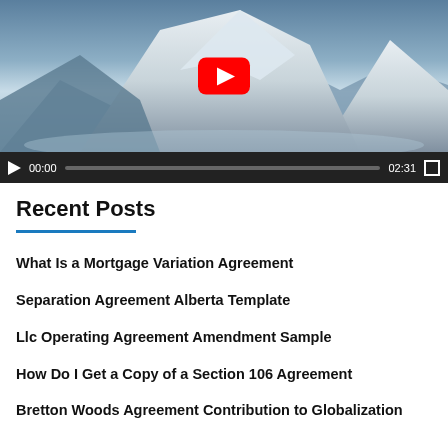[Figure (screenshot): YouTube video player showing a snowy mountain scene. Controls show play button, time 00:00, progress bar, duration 02:31, and fullscreen button. A red YouTube play button icon is centered on the thumbnail.]
Recent Posts
What Is a Mortgage Variation Agreement
Separation Agreement Alberta Template
Llc Operating Agreement Amendment Sample
How Do I Get a Copy of a Section 106 Agreement
Bretton Woods Agreement Contribution to Globalization